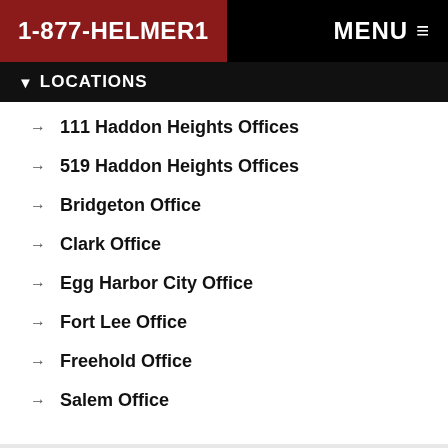1-877-HELMER1   MENU
LOCATIONS
111 Haddon Heights Offices
519 Haddon Heights Offices
Bridgeton Office
Clark Office
Egg Harbor City Office
Fort Lee Office
Freehold Office
Salem Office